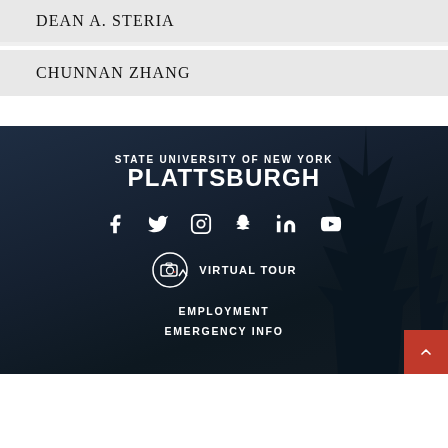DEAN A. STERIA
CHUNNAN ZHANG
[Figure (logo): State University of New York Plattsburgh logo text in white on dark background]
[Figure (infographic): Social media icons: Facebook, Twitter, Instagram, Snapchat, LinkedIn, YouTube — all white on dark background]
[Figure (infographic): Virtual Tour icon — camera in circle with arrow and VIRTUAL TOUR text]
EMPLOYMENT
EMERGENCY INFO